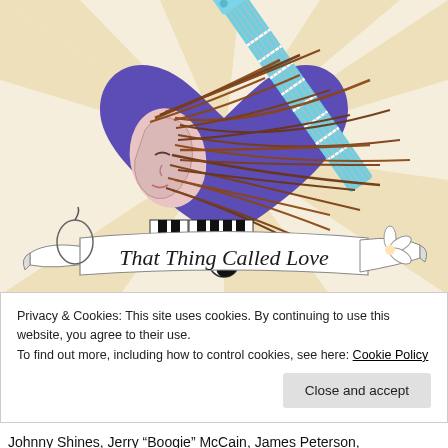[Figure (illustration): Illustration of a woman's face with wild long red/brown hair flowing, overlaid on a large purple heart shape. A teal/turquoise electric guitar neck extends diagonally across the heart. Below the heart is a piano keyboard motif and a yin-yang symbol. A decorative ribbon banner at the bottom reads 'That Thing Called Love' in cursive script. The background has radiant cream and tan stripes. Small flowers are on the right side of the banner.]
Privacy & Cookies: This site uses cookies. By continuing to use this website, you agree to their use.
To find out more, including how to control cookies, see here: Cookie Policy
Close and accept
Johnny Shines, Jerry "Boogie" McCain, James Peterson,